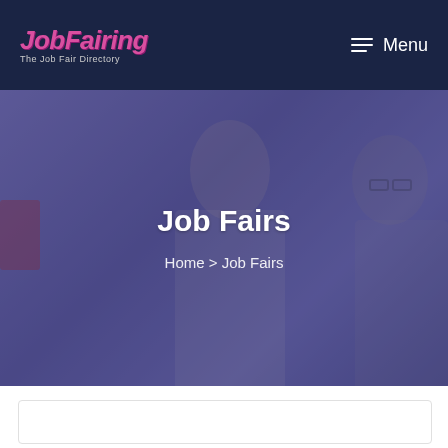JobFairing — The Job Fair Directory | Menu
[Figure (photo): Hero banner with two people in an office setting, woman with blonde hair smiling, overlaid with a dark blue-purple tint]
Job Fairs
Home > Job Fairs